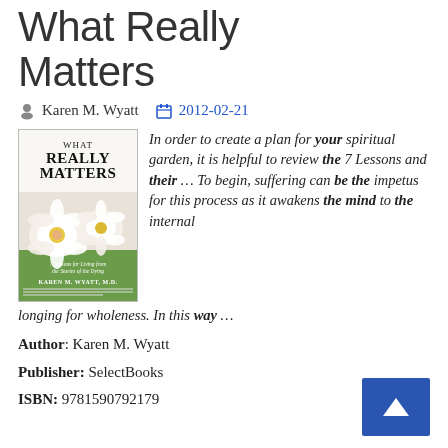What Really Matters
Karen M. Wyatt  2012-02-21
[Figure (illustration): Book cover for 'What Really Matters: 7 Lessons for Living from the Stories of the Dying' by Karen M. Wyatt, M.D. Shows white flowers on green background.]
In order to create a plan for your spiritual garden, it is helpful to review the 7 Lessons and their ... To begin, suffering can be the impetus for this process as it awakens the mind to the internal longing for wholeness. In this way ...
Author: Karen M. Wyatt
Publisher: SelectBooks
ISBN: 9781590792179